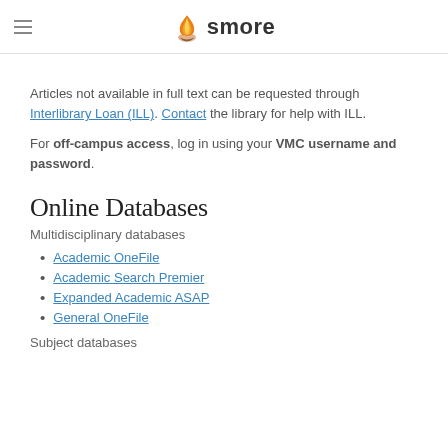smore
Articles not available in full text can be requested through Interlibrary Loan (ILL). Contact the library for help with ILL.
For off-campus access, log in using your VMC username and password.
Online Databases
Multidisciplinary databases
Academic OneFile
Academic Search Premier
Expanded Academic ASAP
General OneFile
Subject databases